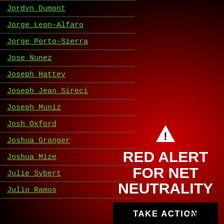Jordyn Dumont
Jorge Leon-Alfaro
Jorge Porto-Sierra
Jose Nunez
Joseph Hattey
Joseph Jean Sireci
Joseph Muniz
Josh Oxford
Joshua Granger
Joshua Mize
Julie Sybert
Julio Ramos
RED ALERT FOR NET NEUTRALITY
TAKE ACTION
CLOSE